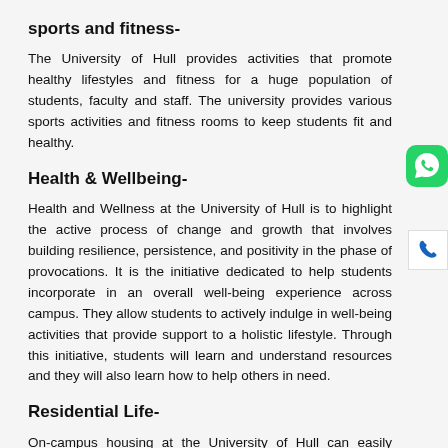sports and fitness-
The University of Hull provides activities that promote healthy lifestyles and fitness for a huge population of students, faculty and staff. The university provides various sports activities and fitness rooms to keep students fit and healthy.
Health & Wellbeing-
Health and Wellness at the University of Hull is to highlight the active process of change and growth that involves building resilience, persistence, and positivity in the phase of provocations. It is the initiative dedicated to help students incorporate in an overall well-being experience across campus. They allow students to actively indulge in well-being activities that provide support to a holistic lifestyle. Through this initiative, students will learn and understand resources and they will also learn how to help others in need.
Residential Life-
On-campus housing at the University of Hull can easily accommodate a huge population of students. The residence